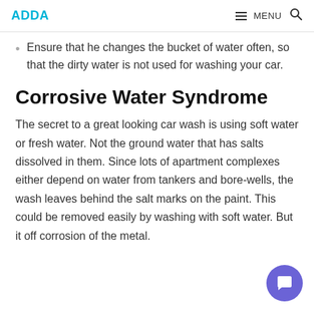ADDA | MENU 🔍
Ensure that he changes the bucket of water often, so that the dirty water is not used for washing your car.
Corrosive Water Syndrome
The secret to a great looking car wash is using soft water or fresh water. Not the ground water that has salts dissolved in them. Since lots of apartment complexes either depend on water from tankers and bore-wells, the wash leaves behind the salt marks on the paint. This could be removed easily by washing with soft water. But it off corrosion of the metal.